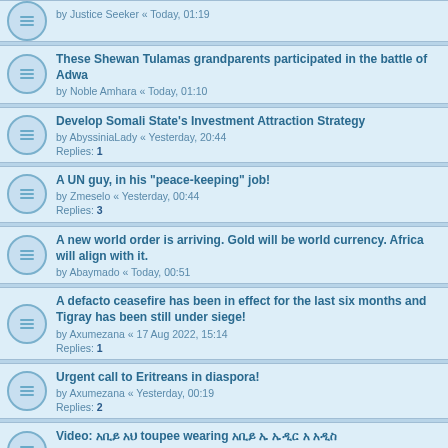by Justice Seeker « Today, 01:19
These Shewan Tulamas grandparents participated in the battle of Adwa
by Noble Amhara « Today, 01:10
Develop Somali State's Investment Attraction Strategy
by AbyssiniaLady « Yesterday, 20:44
Replies: 1
A UN guy, in his "peace-keeping" job!
by Zmeselo « Yesterday, 00:44
Replies: 3
A new world order is arriving. Gold will be world currency. Africa will align with it.
by Abaymado « Today, 00:51
A defacto ceasefire has been in effect for the last six months and Tigray has been still under siege!
by Axumezana « 17 Aug 2022, 15:14
Replies: 1
Urgent call to Eritreans in diaspora!
by Axumezana « Yesterday, 00:19
Replies: 2
Video: [text] toupee wearing [text] [text]
by Justice Seeker « Yesterday, 23:17
Replies: 2
✦ M E K E L L E ✦✦ 2 0 2 2 ✦
by Fiyameta « 31 Jul 2022, 01:00
Replies: 35
Pages: 1 2
[Ethiopic text] 40[Ethiopic text]